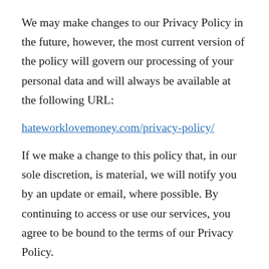We may make changes to our Privacy Policy in the future, however, the most current version of the policy will govern our processing of your personal data and will always be available at the following URL:
hateworklovemoney.com/privacy-policy/
If we make a change to this policy that, in our sole discretion, is material, we will notify you by an update or email, where possible. By continuing to access or use our services, you agree to be bound to the terms of our Privacy Policy.